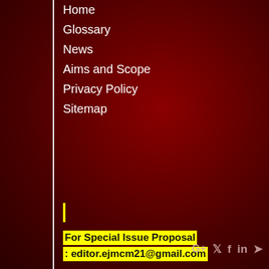Home
Glossary
News
Aims and Scope
Privacy Policy
Sitemap
For Special Issue Proposal : editor.ejmcm21@gmail.com
This journal is licensed under a Creative Commons Attribution 4.0 International (CC-BY 4.0)
Powered by eJournalPlus
This website uses cookies to ensure you get the best experience on our website
Learn more
Got it!